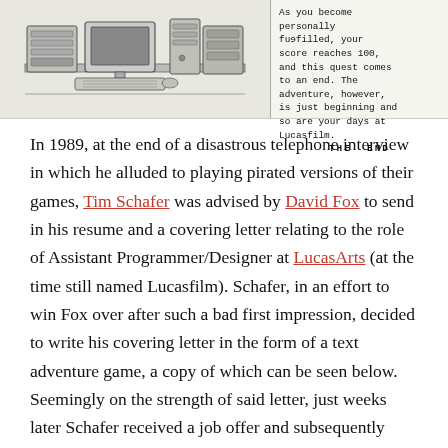[Figure (illustration): Black and white illustration of a computer workstation with monitor, keyboard, and storage units, alongside typewriter-style text ending with 'THE END']
In 1989, at the end of a disastrous telephone interview in which he alluded to playing pirated versions of their games, Tim Schafer was advised by David Fox to send in his resume and a covering letter relating to the role of Assistant Programmer/Designer at LucasArts (at the time still named Lucasfilm). Schafer, in an effort to win Fox over after such a bad first impression, decided to write his covering letter in the form of a text adventure game, a copy of which can be seen below. Seemingly on the strength of said letter, just weeks later Schafer received a job offer and subsequently went on to write for, and program, two of the greatest games ever released: The Secret of Monkey Island and its sequel.